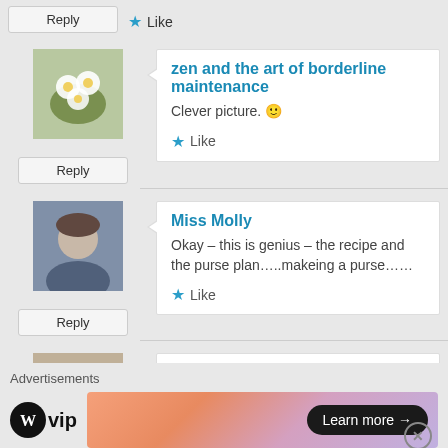Reply | ★ Like
zen and the art of borderline maintenance
Clever picture. 🙂
★ Like
Miss Molly
Okay – this is genius – the recipe and the purse plan…..makeing a purse……
★ Like
susartandfood
Luv my slow cooker – would be lost without it. Still grappling with m… we've made a silent truce. Yum
Advertisements
[Figure (logo): WordPress VIP logo with WP wordmark icon and 'vip' text]
[Figure (infographic): Ad banner with orange-pink gradient and 'Learn more →' black pill button]